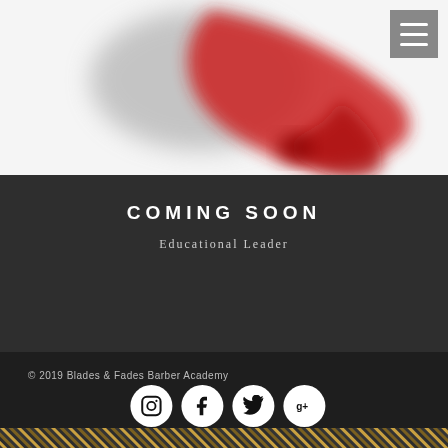[Figure (logo): Blades and Fades Barber Academy logo — blurred red and grey swirling design on white background]
COMING SOON
Educational Leader
© 2019 Blades & Fades Barber Academy
[Figure (infographic): Social media icons: Instagram, Facebook, Twitter, Google+]